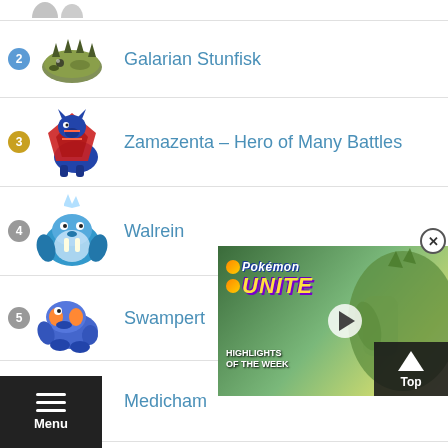[partial - top cropped] rank 1 sprites
2 Galarian Stunfisk
3 Zamazenta - Hero of Many Battles
4 Walrein
5 Swampert
6 Medicham
[Figure (screenshot): Pokémon UNITE Highlights of the Week ad overlay with play button and Top button]
Menu